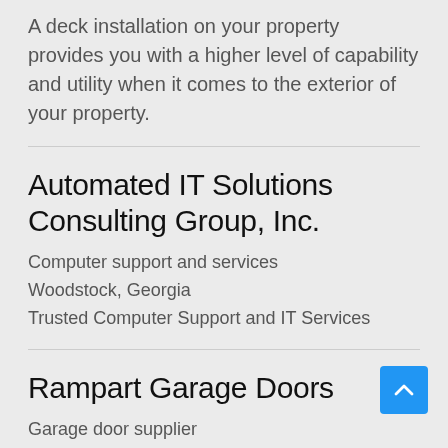A deck installation on your property provides you with a higher level of capability and utility when it comes to the exterior of your property.
Automated IT Solutions Consulting Group, Inc.
Computer support and services
Woodstock, Georgia
Trusted Computer Support and IT Services
Rampart Garage Doors
Garage door supplier
Carlsbad, CA